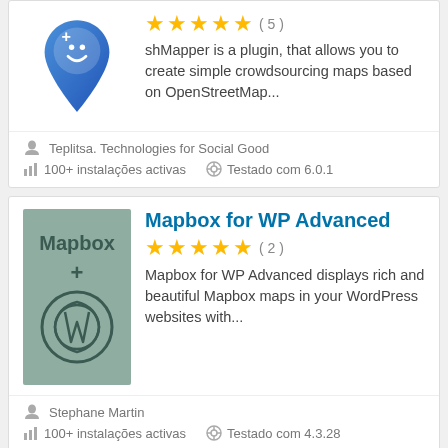[Figure (logo): shMapper plugin logo: blue map pin with smiley face and plus icon]
[Figure (other): 5 gold stars rating with (5) review count]
shMapper is a plugin, that allows you to create simple crowdsourcing maps based on OpenStreetMap...
Teplitsa. Technologies for Social Good
100+ instalações activas
Testado com 6.0.1
Mapbox for WP Advanced
[Figure (logo): Mapbox + WordPress logo on sage green background]
[Figure (other): 5 gold stars rating with (2) review count]
Mapbox for WP Advanced displays rich and beautiful Mapbox maps in your WordPress websites with...
Stephane Martin
100+ instalações activas
Testado com 4.3.28